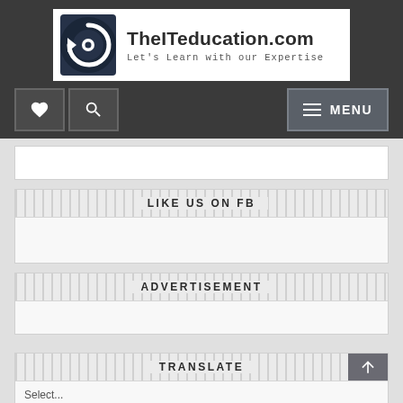[Figure (logo): TheITeducation.com logo with circular arrow icon and tagline 'Let's Learn with our Expertise']
♥  🔍  MENU
LIKE US ON FB
ADVERTISEMENT
TRANSLATE
Select...